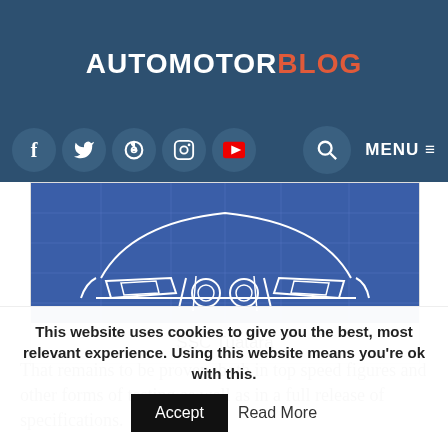AUTOMOTORBLOG
[Figure (illustration): Blueprint-style illustration of SSC Tuatara rear view with white line art on blue background]
SSC Tuatara
That remains to be proven, both in top speed figures and other forms of testing as well as in a full release of specifications.
This website uses cookies to give you the best, most relevant experience. Using this website means you're ok with this. Accept Read More